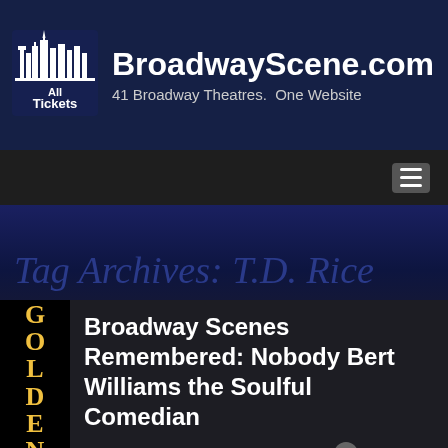BroadwayScene.com — 41 Broadway Theatres. One Website
[Figure (logo): All Tickets logo with city skyline silhouette]
Tag Archives: T.D. Rice
Broadway Scenes Remembered: Nobody Bert Williams the Soulful Comedian
Posted on August 2, 2013 • by Paul Mroczka Posted in